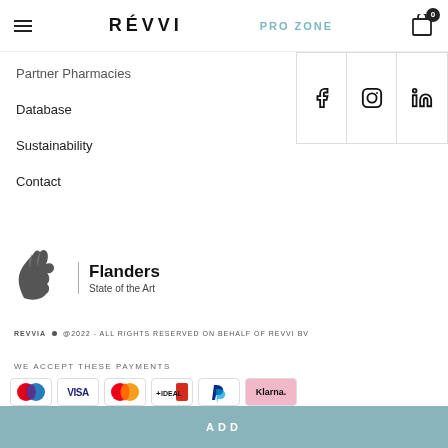RÉVVI | PRO ZONE
Partner Pharmacies
Database
Sustainability
Contact
[Figure (logo): Flanders State of the Art logo with lion head and vertical bar divider]
REVVIA ■ @2022 - ALL RIGHTS RESERVED ON BEHALF OF REVVI BV
WE ACCEPT THESE PAYMENTS
[Figure (infographic): Payment method logos: Maestro, Visa, Mastercard, iDEAL, PayPal, Klarna]
ADD